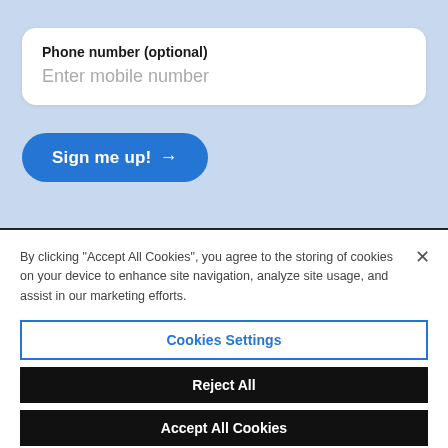Phone number (optional)
Enter mobile number
Sign me up! →
By clicking “Accept All Cookies”, you agree to the storing of cookies on your device to enhance site navigation, analyze site usage, and assist in our marketing efforts.
Cookies Settings
Reject All
Accept All Cookies